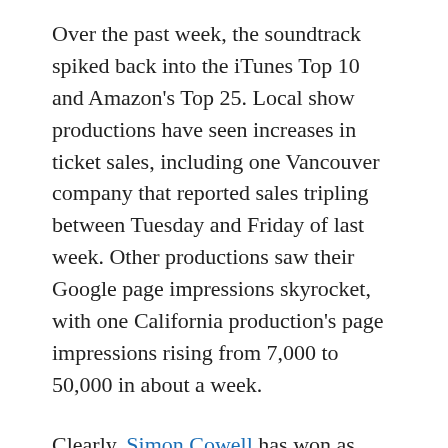Over the past week, the soundtrack spiked back into the iTunes Top 10 and Amazon's Top 25.  Local show productions have seen increases in ticket sales, including one Vancouver company that reported sales tripling between Tuesday and Friday of last week.  Other productions saw their Google page impressions skyrocket, with one California production's page impressions rising from 7,000 to 50,000 in about a week.
Clearly, Simon Cowell has won as well, by developing and producing the program and potentially providing a label for Susan's future work.  And yet, since his production company Freemantle Media hasn't made a penny off her groundbreaking number of video hits, one could